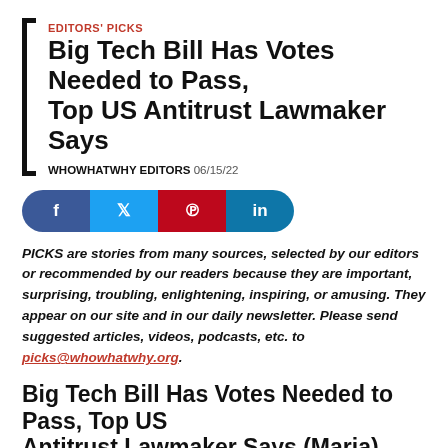EDITORS' PICKS
Big Tech Bill Has Votes Needed to Pass, Top US Antitrust Lawmaker Says
WHOWHATWHY EDITORS 06/15/22
[Figure (infographic): Social share buttons: Facebook (dark blue), Twitter (light blue), Pinterest (red), LinkedIn (blue)]
PICKS are stories from many sources, selected by our editors or recommended by our readers because they are important, surprising, troubling, enlightening, inspiring, or amusing. They appear on our site and in our daily newsletter. Please send suggested articles, videos, podcasts, etc. to picks@whowhatwhy.org.
Big Tech Bill Has Votes Needed to Pass, Top US Antitrust Lawmaker Says (Maria)